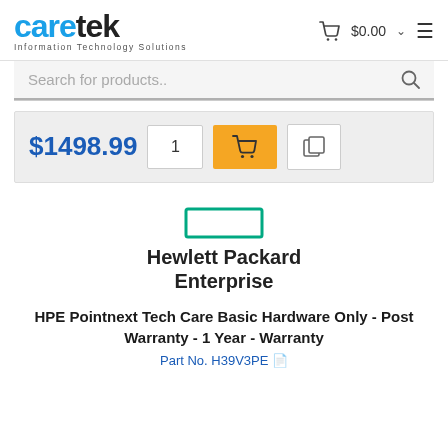caretek Information Technology Solutions
Search for products..
$1498.99
[Figure (logo): Hewlett Packard Enterprise logo — green rectangle above bold text reading 'Hewlett Packard Enterprise']
HPE Pointnext Tech Care Basic Hardware Only - Post Warranty - 1 Year - Warranty
Part No. H39V3PE